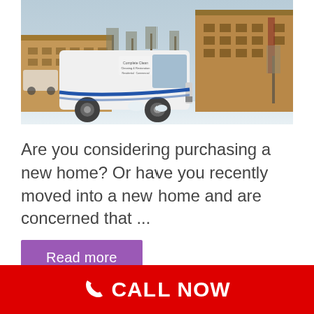[Figure (photo): A white service van with 'Complete Clean' branding parked in a snowy parking lot in front of a brick commercial building. Trees without leaves are visible in the background.]
Are you considering purchasing a new home? Or have you recently moved into a new home and are concerned that ...
Read more
CALL NOW